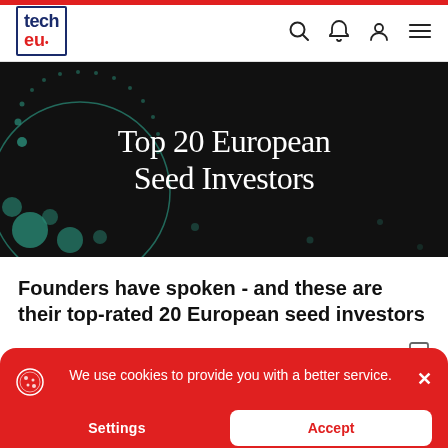[Figure (logo): tech.eu logo in top navigation bar]
[Figure (illustration): Hero banner with dark background, teal circular dot patterns, and white text reading 'Top 20 European Seed Investors']
Founders have spoken - and these are their top-rated 20 European seed investors
Jill Petzinger
We use cookies to provide you with a better service.
Settings
Accept